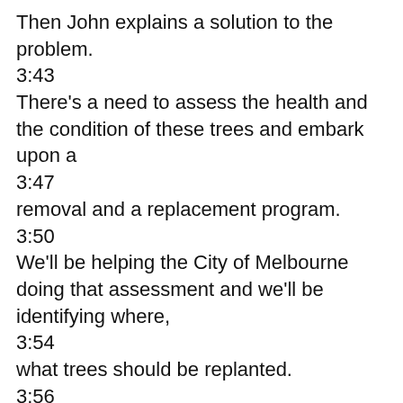Then John explains a solution to the problem.
3:43
There's a need to assess the health and the condition of these trees and embark upon a
3:47
removal and a replacement program.
3:50
We'll be helping the City of Melbourne doing that assessment and we'll be identifying where,
3:54
what trees should be replanted.
3:56
John's solution is to assess the trees, and then remove older trees and replace them with
4:04